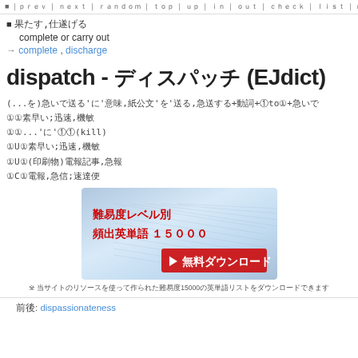■ ｜ｐｒｅｖ ｜ ｎｅｘｔ ｜ ｒａｎｄｏｍ ｜ ｔｏｐ ｜ ｕｐ ｜ ｉｎ ｜ ｏｕｔ ｜ ｃｈｅｃｋ ｜ ｌｉｓｔ ｜ ｍｅｎｕ ｜ ｅｄｉｔ
■ 果たす,仕遂げる
complete or carry out
→ complete , discharge
dispatch - ディスパッチ (EJdict)
(...を)急いで送る'に'意味,紙公文'を'送る,急送する+動詞+①to①+急いで　①U①素早い;迅速,機敏　①U①(印刷物)電報記事,急報　①C①電報,急信;速達便
[Figure (illustration): Advertisement banner for Japanese vocabulary download - 難易度レベル別 頻出英単語 １５０００ ▶ 無料ダウンロード]
※ 当サイトのリソースを使って作られた難易度15000の英単語リストをダウンロードできます
前後: dispassionateness